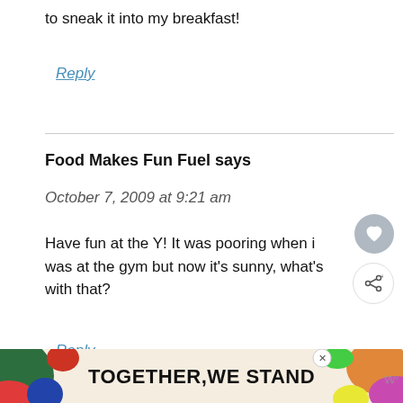to sneak it into my breakfast!
Reply
Food Makes Fun Fuel says
October 7, 2009 at 9:21 am
Have fun at the Y! It was pooring when i was at the gym but now it's sunny, what's with that?
Reply
[Figure (infographic): Advertisement banner reading TOGETHER WE STAND with colorful shapes on left and right sides and a close button]